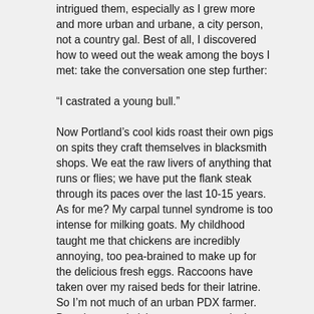intrigued them, especially as I grew more and more urban and urbane, a city person, not a country gal. Best of all, I discovered how to weed out the weak among the boys I met: take the conversation one step further:
“I castrated a young bull.”
Now Portland’s cool kids roast their own pigs on spits they craft themselves in blacksmith shops. We eat the raw livers of anything that runs or flies; we have put the flank steak through its paces over the last 10-15 years. As for me? My carpal tunnel syndrome is too intense for milking goats. My childhood taught me that chickens are incredibly annoying, too pea-brained to make up for the delicious fresh eggs. Raccoons have taken over my raised beds for their latrine. So I’m not much of an urban PDX farmer. But whenever I visit my parents out in the